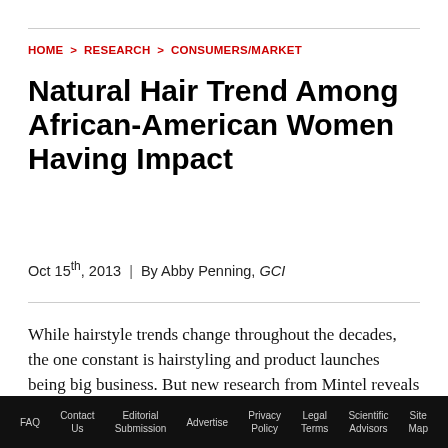HOME > RESEARCH > CONSUMERS/MARKET
Natural Hair Trend Among African-American Women Having Impact
Oct 15th, 2013  |  By Abby Penning, GCI
While hairstyle trends change throughout the decades, the one constant is hairstyling and product launches being big business. But new research from Mintel reveals that natural may be the new normal in black hair care, as relaxers
FAQ   Contact Us   Editorial Submission   Advertise   Privacy Policy   Legal Terms   Scientific Advisors   Site Map